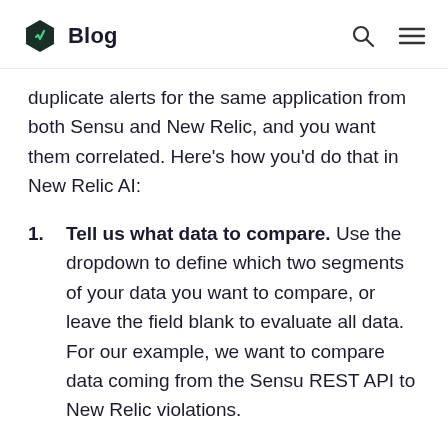Blog
duplicate alerts for the same application from both Sensu and New Relic, and you want them correlated. Here's how you'd do that in New Relic AI:
Tell us what data to compare. Use the dropdown to define which two segments of your data you want to compare, or leave the field blank to evaluate all data. For our example, we want to compare data coming from the Sensu REST API to New Relic violations.